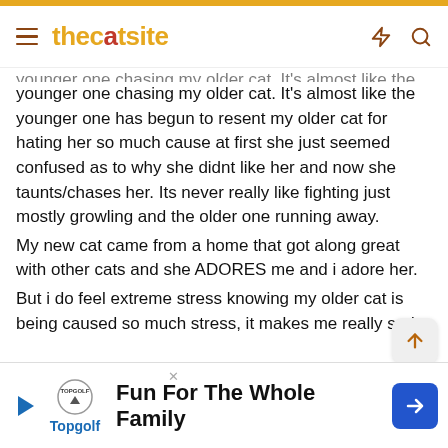thecatsite
younger one chasing my older cat. It's almost like the younger one has begun to resent my older cat for hating her so much cause at first she just seemed confused as to why she didnt like her and now she taunts/chases her. Its never really like fighting just mostly growling and the older one running away.
My new cat came from a home that got along great with other cats and she ADORES me and i adore her.
But i do feel extreme stress knowing my older cat is being caused so much stress, it makes me really sad.
Please dont lecture me on my mistake, i get it, i know, im already hitting myself over the head for it. whats done is done and now i just want to see if anyone has any advice
Thank
[Figure (screenshot): Topgolf advertisement banner: Fun For The Whole Family]